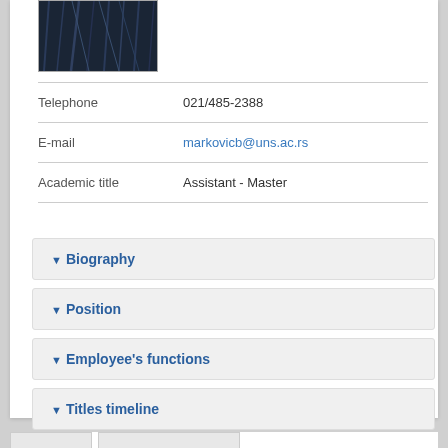[Figure (photo): Profile photo showing dark/abstract background]
| Telephone | 021/485-2388 |
| E-mail | markovicb@uns.ac.rs |
| Academic title | Assistant - Master |
▼Biography
▼Position
▼Employee's functions
▼Titles timeline